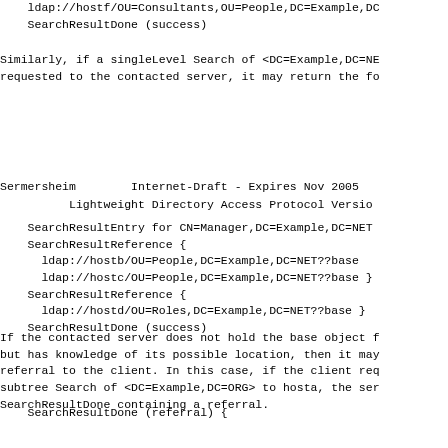ldap://hostf/OU=Consultants,OU=People,DC=Example,DC
    SearchResultDone (success)
Similarly, if a singleLevel Search of <DC=Example,DC=NE
requested to the contacted server, it may return the fo
Sermersheim        Internet-Draft - Expires Nov 2005
Lightweight Directory Access Protocol Versio
SearchResultEntry for CN=Manager,DC=Example,DC=NET
    SearchResultReference {
      ldap://hostb/OU=People,DC=Example,DC=NET??base
      ldap://hostc/OU=People,DC=Example,DC=NET??base }
    SearchResultReference {
      ldap://hostd/OU=Roles,DC=Example,DC=NET??base }
    SearchResultDone (success)
If the contacted server does not hold the base object f
but has knowledge of its possible location, then it may
referral to the client. In this case, if the client req
subtree Search of <DC=Example,DC=ORG> to hosta, the ser
SearchResultDone containing a referral.
SearchResultDone (referral) {